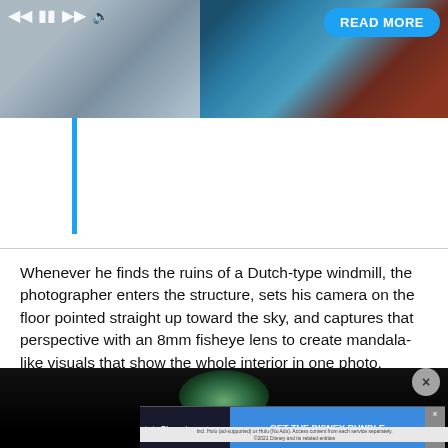[Figure (photo): Top banner image showing a split view: left side shows concrete/ground texture in grey-blue tones, right side shows coral/rock formation in dark teal and rust tones. Media playback controls visible on left, 'READ MORE' button on right.]
[Figure (photo): Bottom image showing a fisheye lens photograph of windmill interior, circular view with green foliage and dark sky around the edges, black background.]
Whenever he finds the ruins of a Dutch-type windmill, the photographer enters the structure, sets his camera on the floor pointed straight up toward the sky, and captures that perspective with an 8mm fisheye lens to create mandala-like visuals that show the whole interior in one photo.
[Figure (photo): Advertisement banner: Disney Bundle promotion featuring Hulu, Disney+, and ESPN+ logos with 'GET THE DISNEY BUNDLE' call to action.]